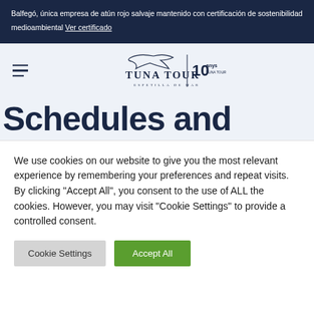Balfegó, única empresa de atún rojo salvaje mantenido con certificación de sostenibilidad medioambiental
Ver certificado
[Figure (logo): Tuna Tour logo with fish graphic, vertical divider, and 10 anniversary badge]
Schedules and
We use cookies on our website to give you the most relevant experience by remembering your preferences and repeat visits. By clicking "Accept All", you consent to the use of ALL the cookies. However, you may visit "Cookie Settings" to provide a controlled consent.